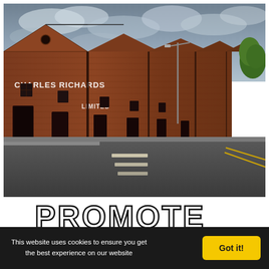[Figure (photo): Photograph of Charles Richards Limited industrial brick factory building with multiple sawtooth roofline peaks viewed from street level. Red brick Victorian-era industrial building with white painted lettering reading 'CHARLES RICHARDS LIMITED'. Road visible in foreground, overcast sky with clouds above.]
PROMOTE
This website uses cookies to ensure you get the best experience on our website
Got it!